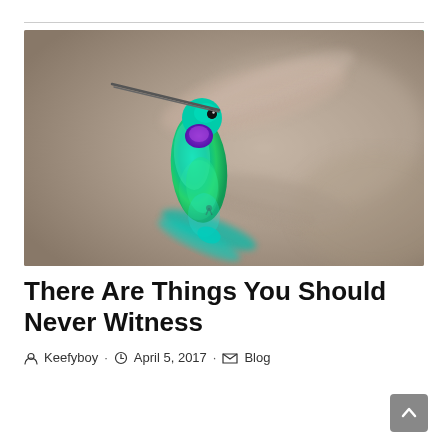[Figure (photo): A hummingbird in flight with iridescent green and teal feathers, purple throat patch, and blurred wings against a blurred brownish-grey background.]
There Are Things You Should Never Witness
Keefyboy · April 5, 2017 · Blog